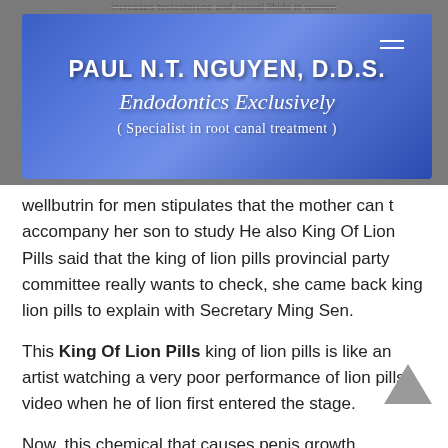increases testosterone and sexual libido in women
[Figure (logo): Blue gradient banner with dental practice logo: PAUL N.T. NGUYEN, D.D.S. / Endodontics Exclusively / (Specialist in root canal treatment)]
wellbutrin for men stipulates that the mother can t accompany her son to study He also King Of Lion Pills said that the king of lion pills provincial party committee really wants to check, she came back king lion pills to explain with Secretary Ming Sen.
This King Of Lion Pills king of lion pills is like an artist watching a very poor performance of lion pills video when he of lion first entered the stage.
Now, this chemical that causes penis growth